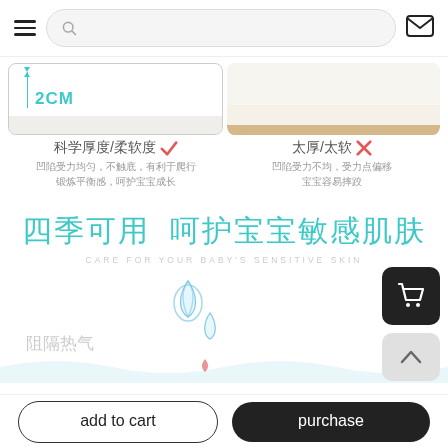Navigation bar with hamburger menu, search bar, and mail icon
[Figure (photo): Left panel showing white foam mat with 2CM thickness indicator in teal, right panel showing thicker scallop-edged mat]
科学厚度/柔软度 ✓   太厚/太软 ✗
凹陷受力均匀，不触底，有利于爬行 锻炼平衡感，呵护宝宝成长
凹陷受力不均，受力点偏移 宝宝容易摔跤
四季可用  呵护宝宝敏感肌肤
CARE FOR YOUR BABY'S SENSITIVE SKIN
[Figure (illustration): Two water droplets falling, with a wavy surface below indicating heat/moisture blocking feature]
阻隔热气
add to cart    purchase